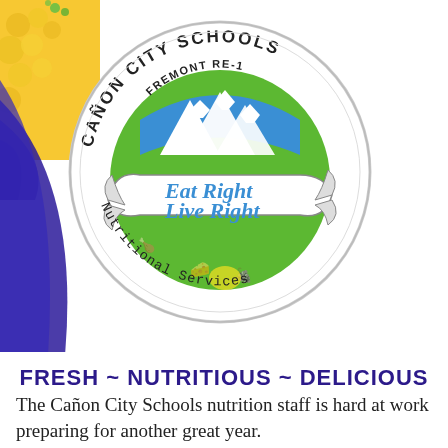[Figure (logo): Cañon City Schools Fremont RE-1 Nutritional Services logo — circular badge with mountain and food imagery, banner reading 'Eat Right Live Right', surrounded by text 'CAÑON CITY SCHOOLS FREMONT RE-1' and 'Nutritional Services'. Background includes food imagery (corn, etc.) on left with blue/purple stripe.]
FRESH ~ NUTRITIOUS ~ DELICIOUS
The Cañon City Schools nutrition staff is hard at work preparing for another great year.